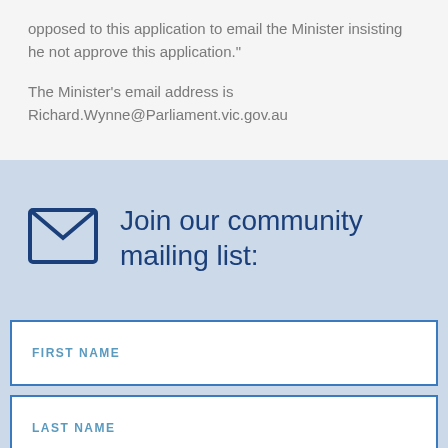opposed to this application to email the Minister insisting he not approve this application."
The Minister's email address is Richard.Wynne@Parliament.vic.gov.au
Join our community mailing list:
FIRST NAME
LAST NAME